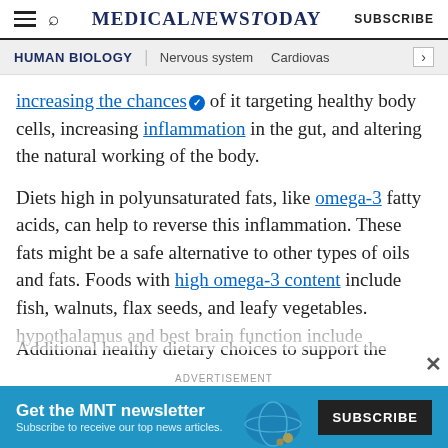MedicalNewsToday | SUBSCRIBE
HUMAN BIOLOGY | Nervous system  Cardiovas
increasing the chances of it targeting healthy body cells, increasing inflammation in the gut, and altering the natural working of the body.
Diets high in polyunsaturated fats, like omega-3 fatty acids, can help to reverse this inflammation. These fats might be a safe alternative to other types of oils and fats. Foods with high omega-3 content include fish, walnuts, flax seeds, and leafy vegetables.
Additional healthy dietary choices to support the hypothalamus and best brain function include
[Figure (other): MNT newsletter advertisement banner: 'Get the MNT newsletter — Subscribe to receive our top news articles. SUBSCRIBE']